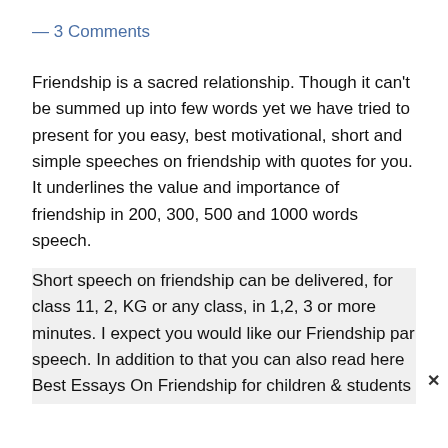— 3 Comments
Friendship is a sacred relationship. Though it can't be summed up into few words yet we have tried to present for you easy, best motivational, short and simple speeches on friendship with quotes for you. It underlines the value and importance of friendship in 200, 300, 500 and 1000 words speech.
Short speech on friendship can be delivered, for class 11, 2, KG or any class, in 1,2, 3 or more minutes. I expect you would like our Friendship par speech. In addition to that you can also read here Best Essays On Friendship for children & students